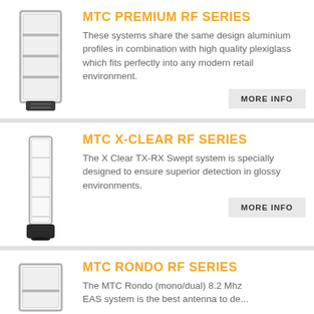MTC PREMIUM RF SERIES
These systems share the same design aluminium profiles in combination with high quality plexiglass which fits perfectly into any modern retail environment.
MTC X-CLEAR RF SERIES
The X Clear TX-RX Swept system is specially designed to ensure superior detection in glossy environments.
MTC RONDO RF SERIES
The MTC Rondo (mono/dual) 8.2 Mhz EAS system is the best antenna to de...